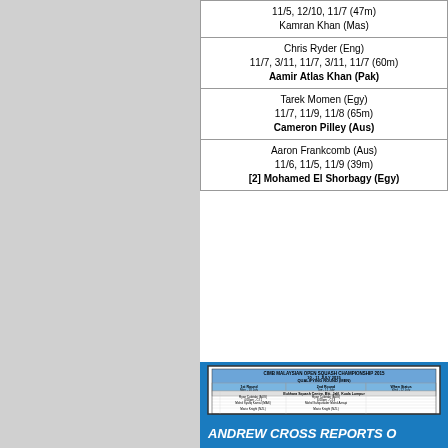| 11/5, 12/10, 11/7 (47m)
Kamran Khan (Mas) |
| Chris Ryder (Eng)
11/7, 3/11, 11/7, 3/11, 11/7 (60m)
Aamir Atlas Khan (Pak) |
| Tarek Momen (Egy)
11/7, 11/9, 11/8 (65m)
Cameron Pilley (Aus) |
| Aaron Frankcomb (Aus)
11/6, 11/5, 11/9 (39m)
[2] Mohamed El Shorbagy (Egy) |
[Figure (table-as-image): CIMB Malaysian Open Squash Championship 2015 qualifying rounds schedule table showing match times, courts, players and results]
ANDREW CROSS REPORTS O